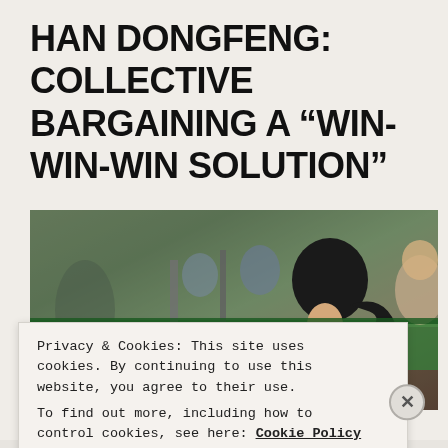HAN DONGFENG: COLLECTIVE BARGAINING A “WIN-WIN-WIN SOLUTION”
[Figure (photo): Factory workers seated at an assembly line, photo taken from behind a female worker with dark hair in a ponytail; industrial manufacturing environment with green workbenches.]
Privacy & Cookies: This site uses cookies. By continuing to use this website, you agree to their use.
To find out more, including how to control cookies, see here: Cookie Policy